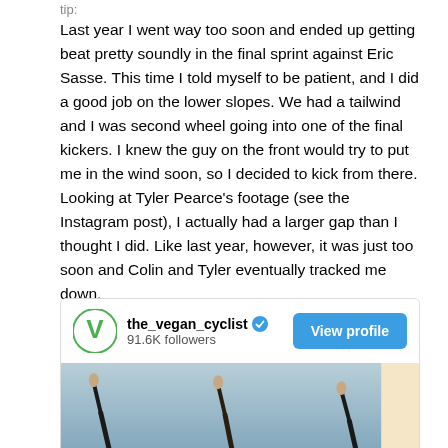Last year I went way too soon and ended up getting beat pretty soundly in the final sprint against Eric Sasse. This time I told myself to be patient, and I did a good job on the lower slopes. We had a tailwind and I was second wheel going into one of the final kickers. I knew the guy on the front would try to put me in the wind soon, so I decided to kick from there. Looking at Tyler Pearce's footage (see the Instagram post), I actually had a larger gap than I thought I did. Like last year, however, it was just too soon and Colin and Tyler eventually tracked me down.
[Figure (screenshot): Instagram profile card for the_vegan_cyclist with 91.6K followers and a View profile button, with a cropped image of cyclists raising hands below]